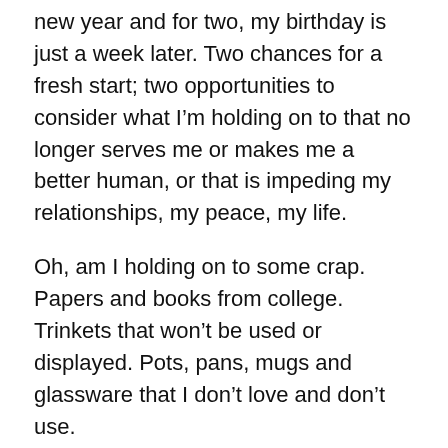new year and for two, my birthday is just a week later. Two chances for a fresh start; two opportunities to consider what I'm holding on to that no longer serves me or makes me a better human, or that is impeding my relationships, my peace, my life.
Oh, am I holding on to some crap. Papers and books from college. Trinkets that won't be used or displayed. Pots, pans, mugs and glassware that I don't love and don't use.
The catch-all places in my house are stuffed, and it is this I have to face in 2018. My office closet (disaster). The furnace room. Kitchen drawers. The pantry and spice cabinet. The storage space under the stairs. Bedrooms that hold the remnants of my children's